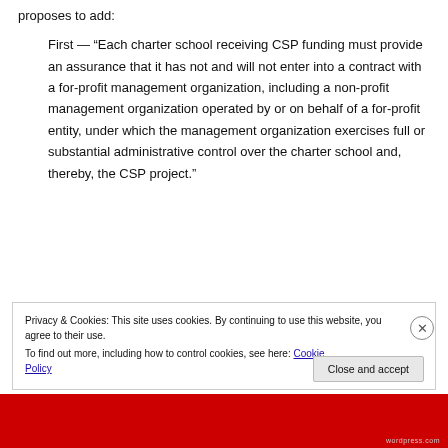proposes to add:
First — “Each charter school receiving CSP funding must provide an assurance that it has not and will not enter into a contract with a for-profit management organization, including a non-profit management organization operated by or on behalf of a for-profit entity, under which the management organization exercises full or substantial administrative control over the charter school and, thereby, the CSP project.”
Privacy & Cookies: This site uses cookies. By continuing to use this website, you agree to their use.
To find out more, including how to control cookies, see here: Cookie Policy
Close and accept